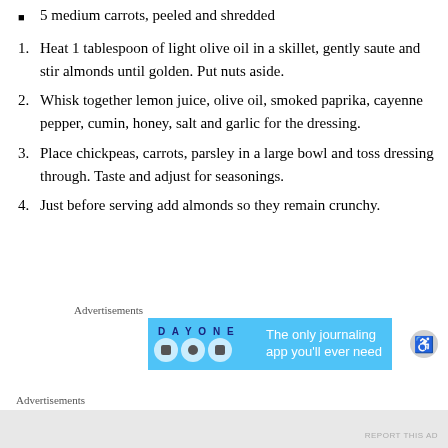5 medium carrots, peeled and shredded
1. Heat 1 tablespoon of light olive oil in a skillet, gently saute and stir almonds until golden. Put nuts aside.
2. Whisk together lemon juice, olive oil, smoked paprika, cayenne pepper, cumin, honey, salt and garlic for the dressing.
3. Place chickpeas, carrots, parsley in a large bowl and toss dressing through. Taste and adjust for seasonings.
4. Just before serving add almonds so they remain crunchy.
[Figure (screenshot): Advertisement banner for Day One journaling app with blue background, app icons, and text 'The only journaling app you'll ever need']
Advertisements
REPORT THIS AD